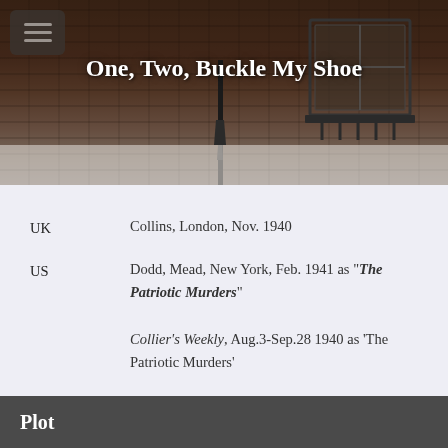[Figure (photo): Hero banner photo of a brick building facade with ornate wrought iron balcony railing and lantern, dimly lit. Appears to be an Agatha Christie memorial building in London.]
One, Two, Buckle My Shoe
| UK | Collins, London, Nov. 1940 |
| US | Dodd, Mead, New York, Feb. 1941 as "The Patriotic Murders"
Collier's Weekly, Aug.3-Sep.28 1940 as 'The Patriotic Murders'
a.k.a. "An Overdose of Death" |
Plot